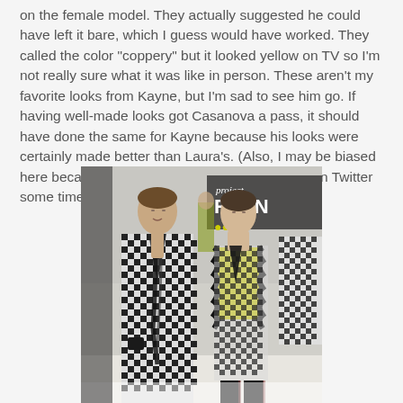on the female model. They actually suggested he could have left it bare, which I guess would have worked. They called the color "coppery" but it looked yellow on TV so I'm not really sure what it was like in person. These aren't my favorite looks from Kayne, but I'm sad to see him go. If having well-made looks got Casanova a pass, it should have done the same for Kayne because his looks were certainly made better than Laura's. (Also, I may be biased here because his personality is fun. Talk to him on Twitter some time).
[Figure (photo): Project Runway runway show photo showing two models wearing houndstooth blazers — a male model with a dark scarf and a female model with a yellow top and black leather ruffled details — with a Project Runway banner visible in background]